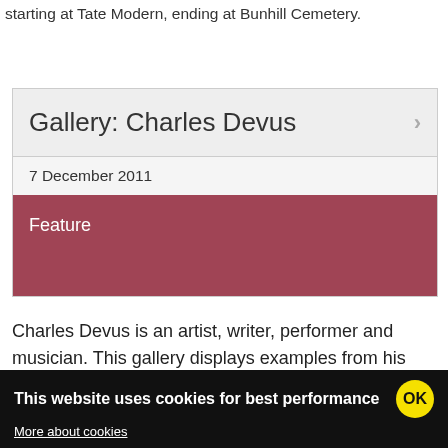starting at Tate Modern, ending at Bunhill Cemetery.
Gallery: Charles Devus
7 December 2011
Feature
Charles Devus is an artist, writer, performer and musician. This gallery displays examples from his forthcoming graphic novel Justin Sane - the travails of an aesthetic detective and his alien son, Cedric.
This website uses cookies for best performance OK More about cookies